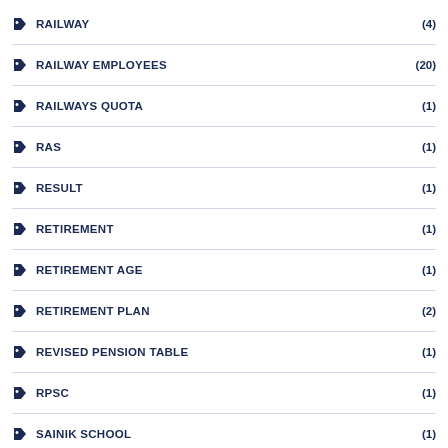RAILWAY (4)
RAILWAY EMPLOYEES (20)
RAILWAYS QUOTA (1)
RAS (1)
RESULT (1)
RETIREMENT (1)
RETIREMENT AGE (1)
RETIREMENT PLAN (2)
REVISED PENSION TABLE (1)
RPSC (1)
SAINIK SCHOOL (1)
SALARY (1)
SALARY CALCULATOR (2)